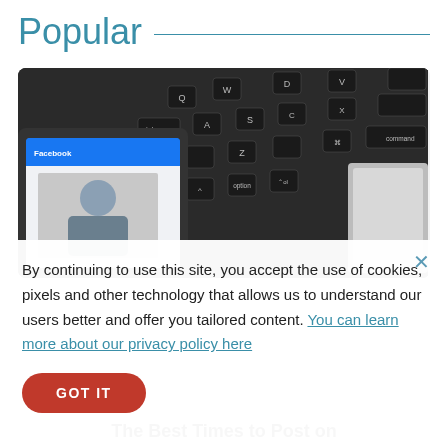Popular
[Figure (photo): A smartphone displaying a Facebook profile next to a MacBook laptop keyboard, photographed from above at an angle.]
By continuing to use this site, you accept the use of cookies, pixels and other technology that allows us to understand our users better and offer you tailored content. You can learn more about our privacy policy here
GOT IT
The Best Times to Post on